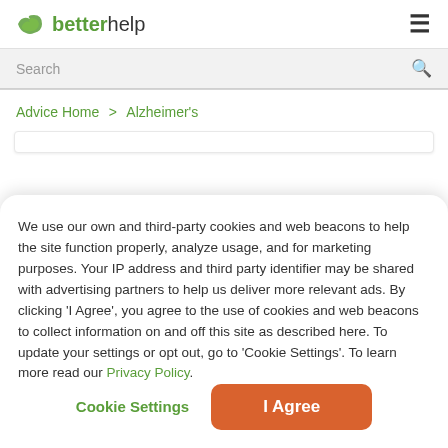betterhelp
Search
Advice Home > Alzheimer's
We use our own and third-party cookies and web beacons to help the site function properly, analyze usage, and for marketing purposes. Your IP address and third party identifier may be shared with advertising partners to help us deliver more relevant ads. By clicking 'I Agree', you agree to the use of cookies and web beacons to collect information on and off this site as described here. To update your settings or opt out, go to 'Cookie Settings'. To learn more read our Privacy Policy.
Cookie Settings
I Agree